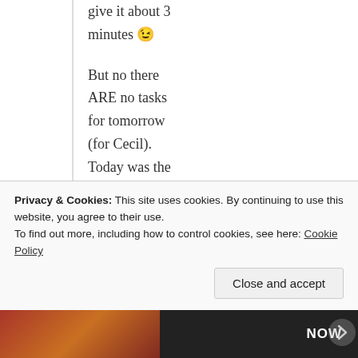give it about 3 minutes 😉
But no there ARE no tasks for tomorrow (for Cecil). Today was the last day….
★ Loading...
Uncle | May 26, 2015 at 12:22 am |
Privacy & Cookies: This site uses cookies. By continuing to use this website, you agree to their use.
To find out more, including how to control cookies, see here: Cookie Policy
Close and accept